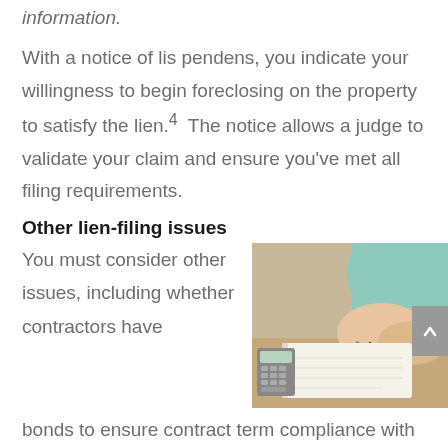information.
With a notice of lis pendens, you indicate your willingness to begin foreclosing on the property to satisfy the lien.⁴  The notice allows a judge to validate your claim and ensure you've met all filing requirements.
Other lien-filing issues
You must consider other issues, including whether contractors have bonds to ensure contract term compliance with homeowners or lenders. Making sure you've collected the appropriate
[Figure (photo): Person writing in a notebook with a calculator and papers on a desk]
bonds to ensure contract term compliance with homeowners or lenders. Making sure you've collected the appropriate